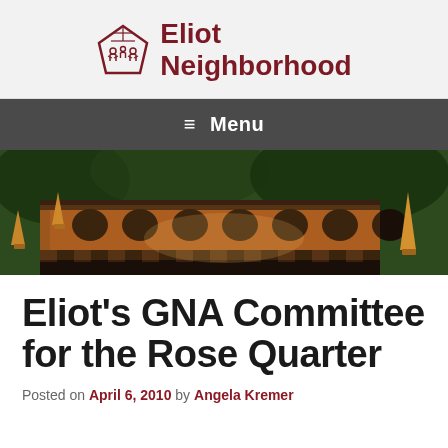[Figure (logo): Eliot Neighborhood logo with house/people icon and text 'Eliot Neighborhood' in dark red]
≡ Menu
[Figure (photo): Close-up photo of a copper dome architectural structure with circular windows and golden spire finials, surrounded by green trees]
Eliot's GNA Committee for the Rose Quarter
Posted on April 6, 2010 by Angela Kremer